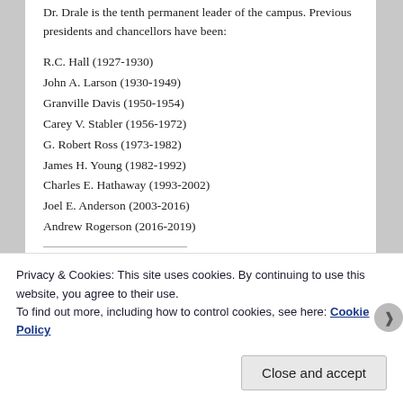Dr. Drale is the tenth permanent leader of the campus. Previous presidents and chancellors have been:
R.C. Hall (1927-1930)
John A. Larson (1930-1949)
Granville Davis (1950-1954)
Carey V. Stabler (1956-1972)
G. Robert Ross (1973-1982)
James H. Young (1982-1992)
Charles E. Hathaway (1993-2002)
Joel E. Anderson (2003-2016)
Andrew Rogerson (2016-2019)
SHARE THIS:
Privacy & Cookies: This site uses cookies. By continuing to use this website, you agree to their use. To find out more, including how to control cookies, see here: Cookie Policy